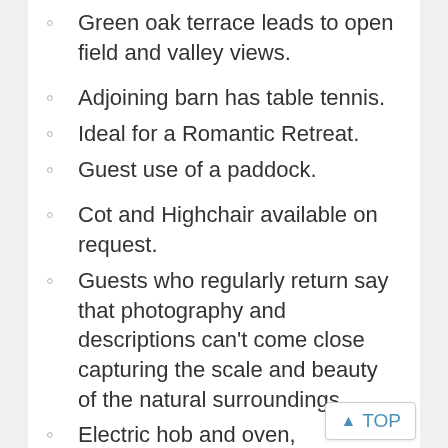Green oak terrace leads to open field and valley views.
Adjoining barn has table tennis.
Ideal for a Romantic Retreat.
Guest use of a paddock.
Cot and Highchair available on request.
Guests who regularly return say that photography and descriptions can't come close capturing the scale and beauty of the natural surroundings.
Electric hob and oven, microwave, fridge with freezer compartment, dishwasher, washer/dryer,